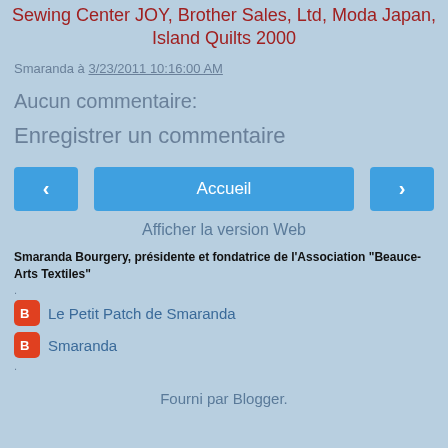Sewing Center JOY, Brother Sales, Ltd, Moda Japan, Island Quilts 2000
Smaranda à 3/23/2011 10:16:00 AM
Aucun commentaire:
Enregistrer un commentaire
< Accueil >
Afficher la version Web
Smaranda Bourgery, présidente et fondatrice de l'Association "Beauce-Arts Textiles"
Le Petit Patch de Smaranda
Smaranda
Fourni par Blogger.